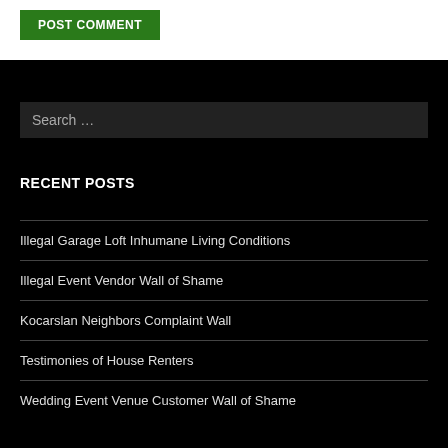POST COMMENT
Search …
RECENT POSTS
Illegal Garage Loft Inhumane Living Conditions
Illegal Event Vendor Wall of Shame
Kocarslan Neighbors Complaint Wall
Testimonies of House Renters
Wedding Event Venue Customer Wall of Shame